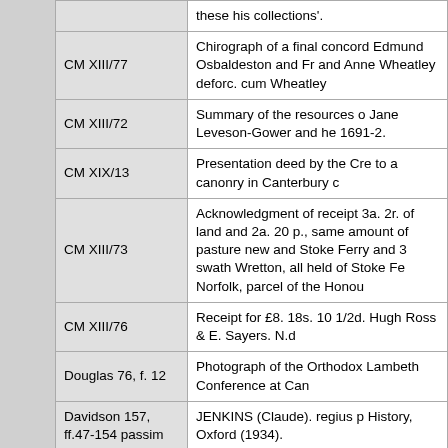| Reference | Description |
| --- | --- |
|  | these his collections'. |
| CM XIII/77 | Chirograph of a final concord Edmund Osbaldeston and Fr and Anne Wheatley deforc. cum Wheatley |
| CM XIII/72 | Summary of the resources o Jane Leveson-Gower and he 1691-2. |
| CM XIX/13 | Presentation deed by the Cre to a canonry in Canterbury c |
| CM XIII/73 | Acknowledgment of receipt 3a. 2r. of land and 2a. 20 p., same amount of pasture new and Stoke Ferry and 3 swath Wretton, all held of Stoke Fe Norfolk, parcel of the Honou |
| CM XIII/76 | Receipt for £8. 18s. 10 1/2d. Hugh Ross & E. Sayers. N.d |
| Douglas 76, f. 12 | Photograph of the Orthodox Lambeth Conference at Can |
| Davidson 157, ff.47-154 passim | JENKINS (Claude). regius p History, Oxford (1934). |
|  | Copy of a royal warrant unde arrears of tenths on various |